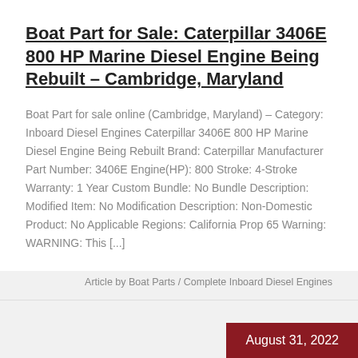Boat Part for Sale: Caterpillar 3406E 800 HP Marine Diesel Engine Being Rebuilt – Cambridge, Maryland
Boat Part for sale online (Cambridge, Maryland) – Category: Inboard Diesel Engines Caterpillar 3406E 800 HP Marine Diesel Engine Being Rebuilt Brand: Caterpillar Manufacturer Part Number: 3406E Engine(HP): 800 Stroke: 4-Stroke Warranty: 1 Year Custom Bundle: No Bundle Description: Modified Item: No Modification Description: Non-Domestic Product: No Applicable Regions: California Prop 65 Warning: WARNING: This [...]
Article by Boat Parts / Complete Inboard Diesel Engines
August 31, 2022